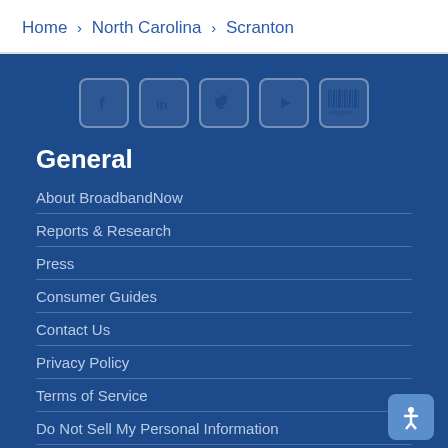Home › North Carolina › Scranton
[Figure (other): Social media icons: Facebook, LinkedIn, Twitter, YouTube, WebData barcode]
General
About BroadbandNow
Reports & Research
Press
Consumer Guides
Contact Us
Privacy Policy
Terms of Service
Do Not Sell My Personal Information